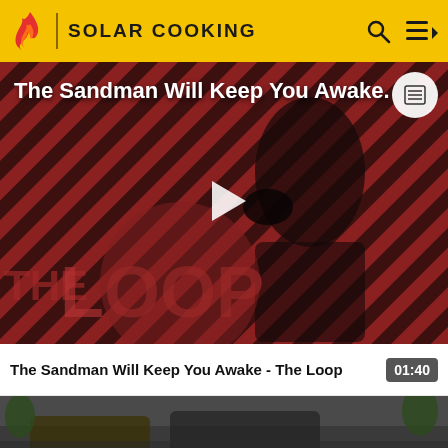SOLAR COOKING
[Figure (screenshot): Video thumbnail for 'The Sandman Will Keep You Awake - The Loop' showing a figure in black against a red and black diagonal striped background with 'THE LOOP' text. A play button is centered on the video. A list/menu icon is in the top right corner of the video.]
The Sandman Will Keep You Awake - The Loop
01:40
[Figure (screenshot): Thumbnail image for 'Solar Cooked Snowbank Chicken Soup' video showing a car scene]
Solar Cooked Snowbank Chicken Soup Solar Cooked Snowbank C